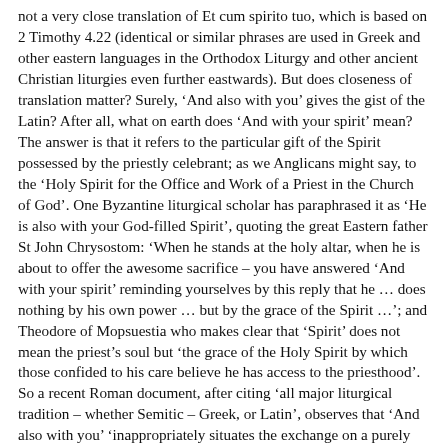not a very close translation of Et cum spirito tuo, which is based on 2 Timothy 4.22 (identical or similar phrases are used in Greek and other eastern languages in the Orthodox Liturgy and other ancient Christian liturgies even further eastwards). But does closeness of translation matter? Surely, ‘And also with you’ gives the gist of the Latin? After all, what on earth does ‘And with your spirit’ mean? The answer is that it refers to the particular gift of the Spirit possessed by the priestly celebrant; as we Anglicans might say, to the ‘Holy Spirit for the Office and Work of a Priest in the Church of God’. One Byzantine liturgical scholar has paraphrased it as ‘He is also with your God-filled Spirit’, quoting the great Eastern father St John Chrysostom: ‘When he stands at the holy altar, when he is about to offer the awesome sacrifice – you have answered ‘And with your spirit’ reminding yourselves by this reply that he … does nothing by his own power … but by the grace of the Spirit …’; and Theodore of Mopsuestia who makes clear that ‘Spirit’ does not mean the priest’s soul but ‘the grace of the Holy Spirit by which those confided to his care believe he has access to the priesthood’. So a recent Roman document, after citing ‘all major liturgical tradition – whether Semitic – Greek, or Latin’, observes that ‘And also with you’ ‘inappropriately situates the exchange on a purely horizontal level, without an apparent distinction in the roles of those who speak, the literal translation in its historical context has always been understood in relation to the crucial distinction in liturgical roles between the priest and the people.’